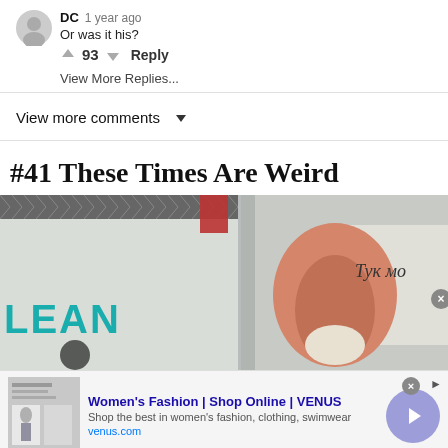DC  1 year ago
Or was it his?
↑ 93 ↓  Reply
View More Replies...
View more comments ∨
#41 These Times Are Weird
[Figure (photo): Photo of a person wearing a salmon/pink hoodie pulled over their head from behind, standing in what appears to be a store or mall. On the left is a sign reading 'LEAN' in teal letters. On the right side in the background is Cyrillic text reading 'Тук мо'.]
[Figure (other): Advertisement banner: Women's Fashion | Shop Online | VENUS. Shop the best in women's fashion, clothing, swimwear. venus.com]